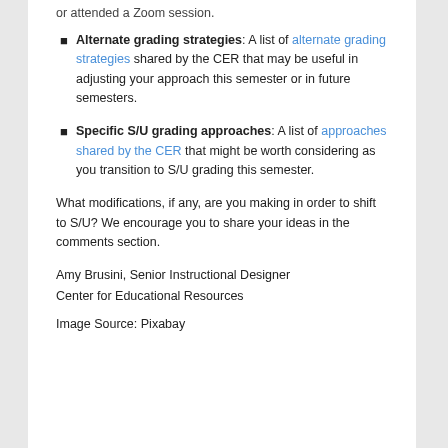or attended a Zoom session.
Alternate grading strategies: A list of alternate grading strategies shared by the CER that may be useful in adjusting your approach this semester or in future semesters.
Specific S/U grading approaches: A list of approaches shared by the CER that might be worth considering as you transition to S/U grading this semester.
What modifications, if any, are you making in order to shift to S/U? We encourage you to share your ideas in the comments section.
Amy Brusini, Senior Instructional Designer
Center for Educational Resources
Image Source: Pixabay